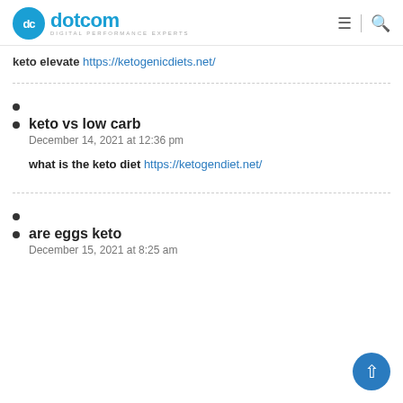dotcom DIGITAL PERFORMANCE EXPERTS
keto elevate https://ketogenicdiets.net/
keto vs low carb
December 14, 2021 at 12:36 pm
what is the keto diet https://ketogendiet.net/
are eggs keto
December 15, 2021 at 8:25 am